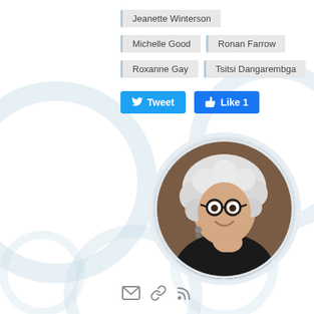Jeanette Winterson
Michelle Good
Ronan Farrow
Roxanne Gay
Tsitsi Dangarembga
[Figure (other): Tweet button and Like 1 button (social media share buttons)]
[Figure (photo): Portrait photo of a woman with curly white/grey hair, round black glasses, wearing a dark top, smiling, against a brown background, displayed in a circular crop]
[Figure (other): Row of three social/contact icons: envelope (email), link, RSS feed]